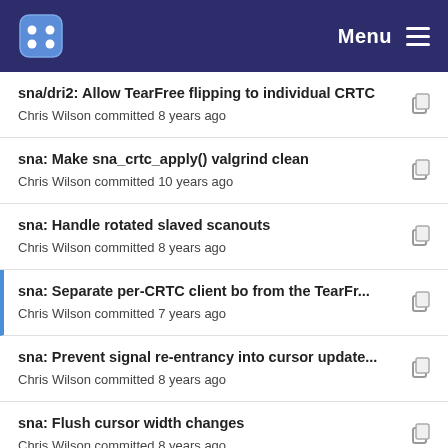Menu
sna/dri2: Allow TearFree flipping to individual CRTC
Chris Wilson committed 8 years ago
sna: Make sna_crtc_apply() valgrind clean
Chris Wilson committed 10 years ago
sna: Handle rotated slaved scanouts
Chris Wilson committed 8 years ago
sna: Separate per-CRTC client bo from the TearFr...
Chris Wilson committed 7 years ago
sna: Prevent signal re-entrancy into cursor update...
Chris Wilson committed 8 years ago
sna: Flush cursor width changes
Chris Wilson committed 8 years ago
sna/dri2: Allow TearFree flipping to individual CRTC
Chris Wilson committed 8 years ago
sna: extend RandR to support super sized monito...
Chris Wilson committed 8 years ago